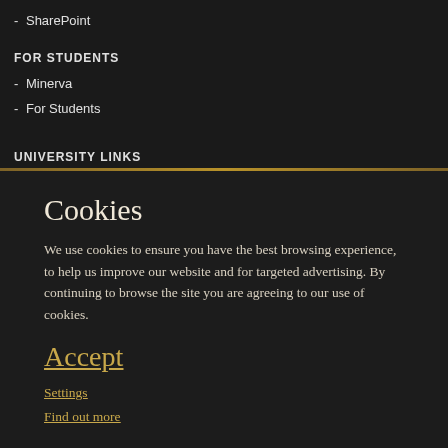- SharePoint
FOR STUDENTS
- Minerva
- For Students
UNIVERSITY LINKS
Cookies
We use cookies to ensure you have the best browsing experience, to help us improve our website and for targeted advertising. By continuing to browse the site you are agreeing to our use of cookies.
Accept
Settings
Find out more